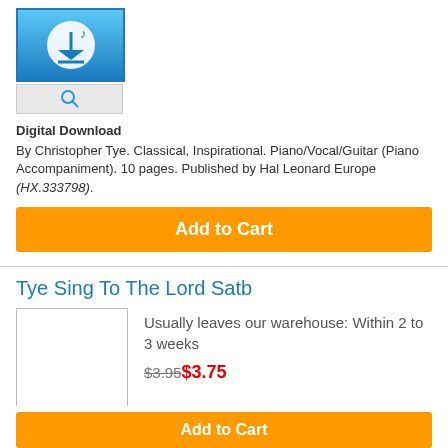[Figure (illustration): Digital download icon: blue gradient square with white downward arrow and music note, with a search/magnify button below]
Digital Download
By Christopher Tye. Classical, Inspirational. Piano/Vocal/Guitar (Piano Accompaniment). 10 pages. Published by Hal Leonard Europe (HX.333798).
Add to Cart
Tye Sing To The Lord Satb
[Figure (illustration): Product thumbnail placeholder box (empty white rectangle with border)]
Usually leaves our warehouse: Within 2 to 3 weeks
$3.95$3.75
(Minimum order: 8)
SATB Choir
Composed by Christopher Tye (1505-1572). Music Sales America. Classical. Choral Score. Music Sales #NOV290306. Published by Music Sales
Add to Cart